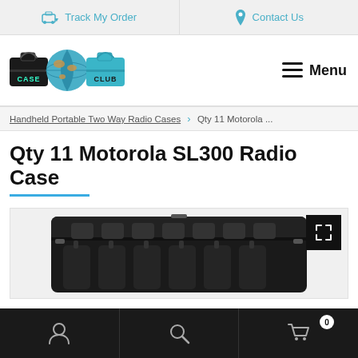Track My Order | Contact Us
[Figure (logo): Case Club logo with briefcases and globe]
Menu
Handheld Portable Two Way Radio Cases > Qty 11 Motorola ...
Qty 11 Motorola SL300 Radio Case
[Figure (photo): Open black hard case containing 11 Motorola SL300 radios in custom foam cutouts]
Account | Search | Cart (0)